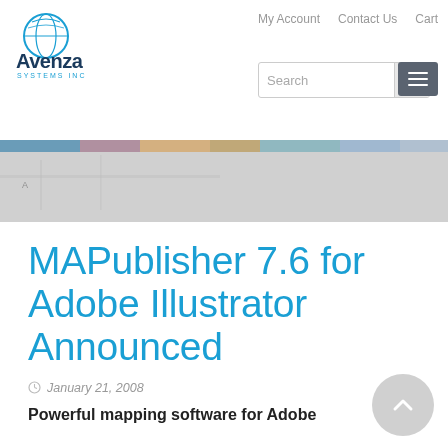Avenza Systems Inc — My Account | Contact Us | Cart
[Figure (logo): Avenza Systems Inc logo with globe icon]
[Figure (screenshot): Hero banner image showing a partial map]
MAPublisher 7.6 for Adobe Illustrator Announced
January 21, 2008
Powerful mapping software for Adobe...